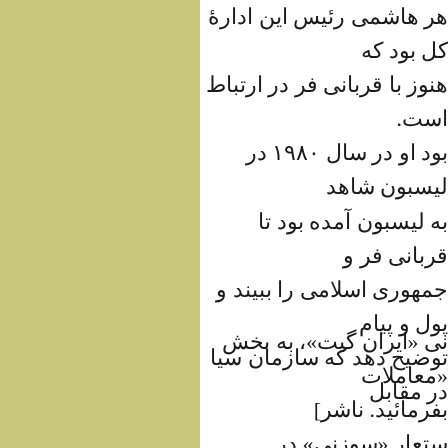هر هاشمی رئیس این ادارۀ کل بود که هنوز با قربانی فر در ارتباط است. بود او در سال ۱۹۸۰ در لیسبون شاهد به لیسبون آمده بود تا قربانی فر و جمهوری اسلامی را ببیند و پول و پیام توضیح دهد که سازمان سیا در مقابل
نی «ایران گیت»، به بخش «معاملات بفرمائید. ناشر] ستعار «سوزنی» در استانبول مقیم شد سامان دادن کار شرکت کننده گان ختند پرداخت که پی آمدهای آن را رهنگ «بهروز شاهوردیلو» و سرهنگ